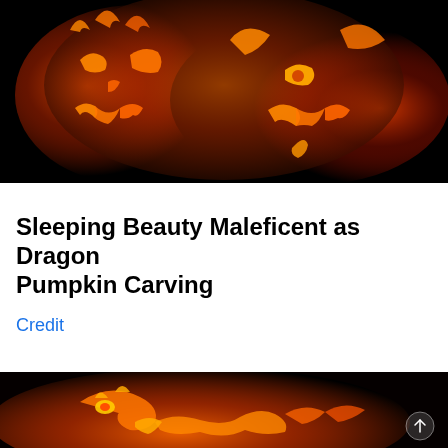[Figure (photo): Close-up photo of illuminated jack-o-lantern pumpkin carvings against a dark/black background, showing glowing orange carved faces with menacing expressions]
Sleeping Beauty Maleficent as Dragon Pumpkin Carving
Credit
[Figure (photo): Illuminated pumpkin carving against black background showing a dragon design with glowing orange light, with a back-to-top arrow button visible in lower right corner]